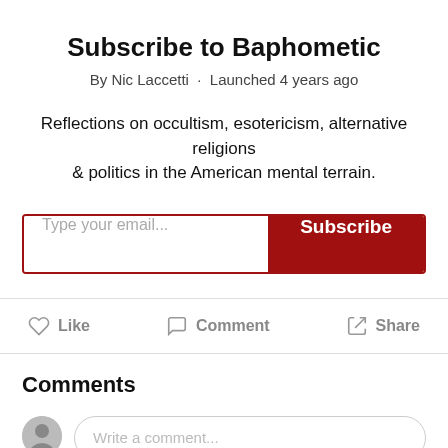Subscribe to Baphometic
By Nic Laccetti · Launched 4 years ago
Reflections on occultism, esotericism, alternative religions & politics in the American mental terrain.
[Figure (other): Email subscription form with input field labeled 'Type your email...' and a dark red Subscribe button]
[Figure (other): Action bar with Like, Comment, and Share buttons with icons]
Comments
Write a comment...